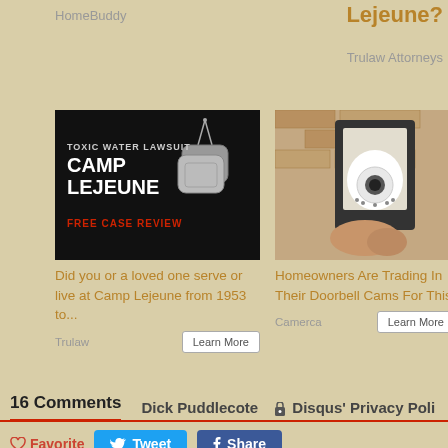HomeBuddy
Lejeune?
Trulaw Attorneys
[Figure (photo): Camp Lejeune toxic water lawsuit advertisement with dog tags on black background, text: TOXIC WATER LAWSUIT CAMP LEJEUNE FREE CASE REVIEW]
Did you or a loved one serve or live at Camp Lejeune from 1953 to...
Trulaw
[Figure (photo): Photo of outdoor lantern wall light with a smart camera bulb installed in it]
Homeowners Are Trading In Their Doorbell Cams For This
Camerca
[Figure (photo): Partial image, appears grey/silver background]
NFL Gro Sho
Wolf-
16 Comments
Dick Puddlecote
Disqus' Privacy Poli
Favorite
Tweet
Share
Join the discussion...